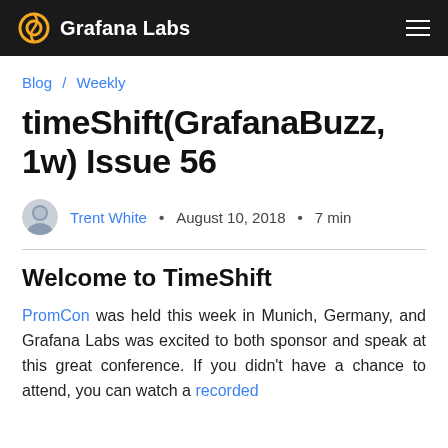Grafana Labs
Blog / Weekly
timeShift(GrafanaBuzz, 1w) Issue 56
Trent White · August 10, 2018 · 7 min
Welcome to TimeShift
PromCon was held this week in Munich, Germany, and Grafana Labs was excited to both sponsor and speak at this great conference. If you didn't have a chance to attend, you can watch a recorded